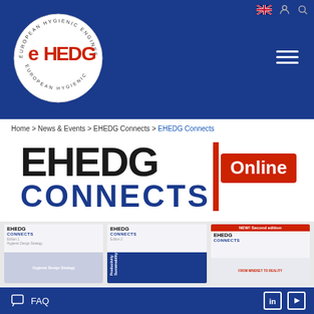EHEDG website header with logo and navigation
Home > News & Events > EHEDG Connects > EHEDG Connects
[Figure (logo): EHEDG Connects Online logo with EHEDG in black bold, CONNECTS in dark blue bold, and Online in white on red banner]
[Figure (illustration): Three EHEDG Connects publication covers side by side. Third has NEW! Second edition red badge. Topics: Hygienic Design Strategy, Productivity Sustainability, From Mindset to Reality.]
FAQ  [LinkedIn] [YouTube]